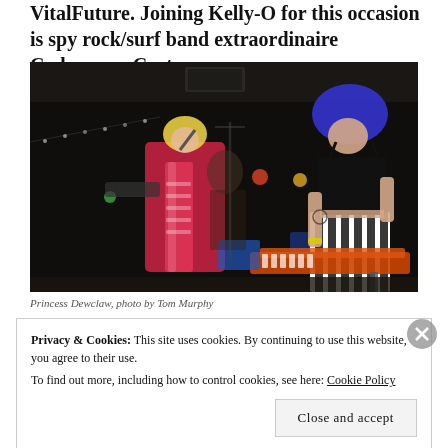VitalFuture. Joining Kelly-O for this occasion is spy rock/surf band extraordinaire Codename: Carter.
[Figure (photo): Concert photo showing two performers on stage. Left performer has blonde hair, wearing a pink/red patterned outfit and scarf, singing into a microphone. Right performer has blue hair, wearing a black crop top and black-and-white striped wide-leg pants, standing at a keyboard/synthesizer. Dark stage with colorful lights in background.]
Princess Dewclaw, photo by Tom Murphy
Privacy & Cookies: This site uses cookies. By continuing to use this website, you agree to their use.
To find out more, including how to control cookies, see here: Cookie Policy
Close and accept